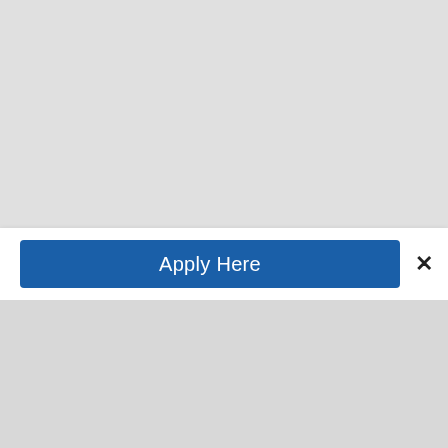[Figure (screenshot): A UI banner bar with a blue 'Apply Here' button and a close (×) button on a white background, overlaid on a gray background.]